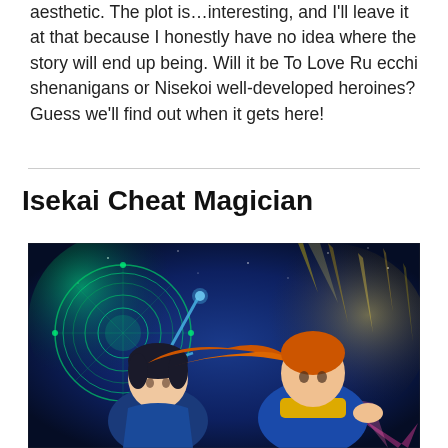aesthetic. The plot is…interesting, and I'll leave it at that because I honestly have no idea where the story will end up being. Will it be To Love Ru ecchi shenanigans or Nisekoi well-developed heroines? Guess we'll find out when it gets here!
Isekai Cheat Magician
[Figure (illustration): Anime key visual for Isekai Cheat Magician showing two characters — a dark-haired male in blue cloak holding a glowing teal/blue staff with a magical green rune circle in the background, and an orange-haired female in blue and yellow outfit — against a dark blue starry background with golden light streaks.]